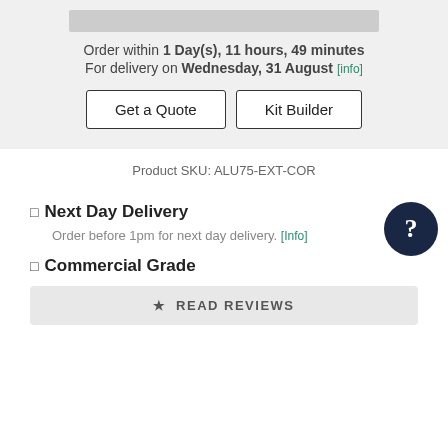Order within 1 Day(s), 11 hours, 49 minutes For delivery on Wednesday, 31 August [info]
Get a Quote
Kit Builder
Product SKU: ALU75-EXT-COR
Next Day Delivery
Order before 1pm for next day delivery. [Info]
Commercial Grade
★ READ REVIEWS